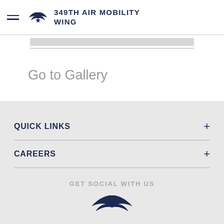349TH AIR MOBILITY WING
Go to Gallery
QUICK LINKS
CAREERS
GET SOCIAL WITH US